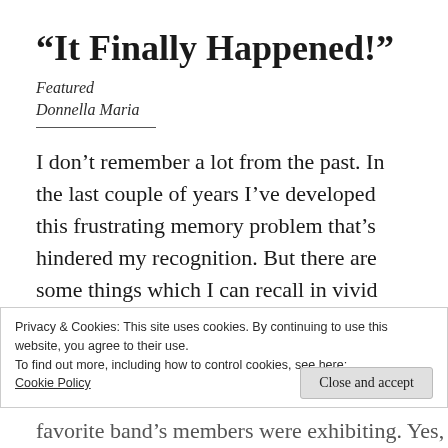“It Finally Happened!”
Featured
Donnella Maria
I don’t remember a lot from the past. In the last couple of years I’ve developed this frustrating memory problem that’s hindered my recognition. But there are some things which I can recall in vivid detail.
Privacy & Cookies: This site uses cookies. By continuing to use this website, you agree to their use.
To find out more, including how to control cookies, see here:
Cookie Policy
Close and accept
favorite band’s members were exhibiting. Yes,